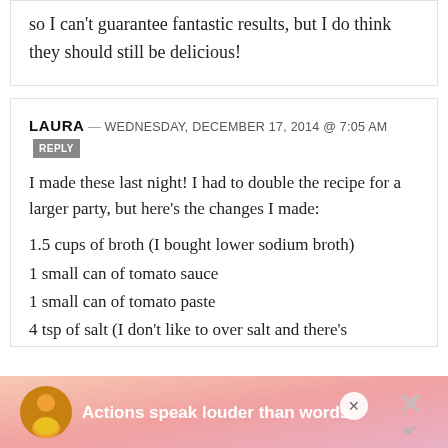so I can't guarantee fantastic results, but I do think they should still be delicious!
LAURA — WEDNESDAY, DECEMBER 17, 2014 @ 7:05 AM REPLY
I made these last night! I had to double the recipe for a larger party, but here's the changes I made:
1.5 cups of broth (I bought lower sodium broth)
1 small can of tomato sauce
1 small can of tomato paste
4 tsp of salt (I don't like to over salt and there's
[Figure (other): Advertisement banner: person with yellow shirt, text 'Actions speak louder than words.' on pink/salmon gradient background, with close buttons]